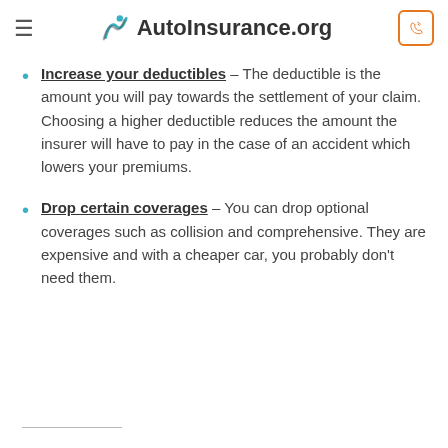AutoInsurance.org
Increase your deductibles – The deductible is the amount you will pay towards the settlement of your claim. Choosing a higher deductible reduces the amount the insurer will have to pay in the case of an accident which lowers your premiums.
Drop certain coverages – You can drop optional coverages such as collision and comprehensive. They are expensive and with a cheaper car, you probably don't need them.